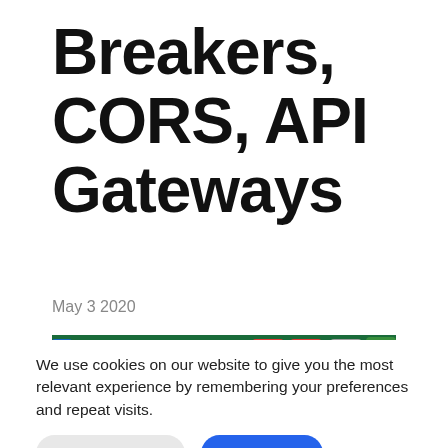Breakers, CORS, API Gateways
May 3 2020
[Figure (screenshot): Screenshot of a website header with colorful letter tiles on a green background and text 'PROFISEA']
We use cookies on our website to give you the most relevant experience by remembering your preferences and repeat visits.
Cookie Settings  Accept All